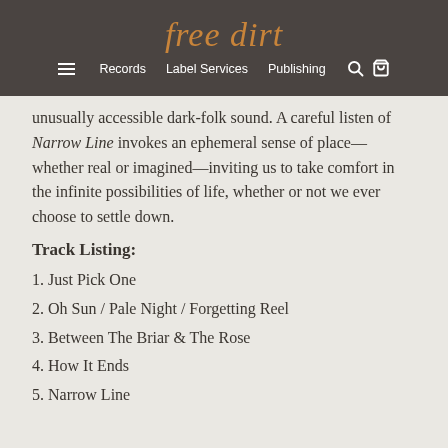free dirt
≡  Records  Label Services  Publishing  🔍 🛒
unusually accessible dark-folk sound. A careful listen of Narrow Line invokes an ephemeral sense of place—whether real or imagined—inviting us to take comfort in the infinite possibilities of life, whether or not we ever choose to settle down.
Track Listing:
1. Just Pick One
2. Oh Sun / Pale Night / Forgetting Reel
3. Between The Briar & The Rose
4. How It Ends
5. Narrow Line